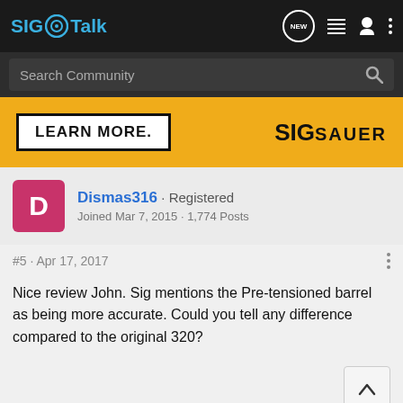SIG Talk
[Figure (screenshot): Search Community bar with magnifying glass icon]
[Figure (other): SIG Sauer advertisement banner: LEARN MORE. SIG SAUER]
Dismas316 · Registered
Joined Mar 7, 2015 · 1,774 Posts
#5 · Apr 17, 2017
Nice review John. Sig mentions the Pre-tensioned barrel as being more accurate. Could you tell any difference compared to the original 320?
[Figure (other): Kel-Tec CP33 pistol advertisement: SEEKING LONG RANGE RELATIONSHIP THE CP33 PISTOL]